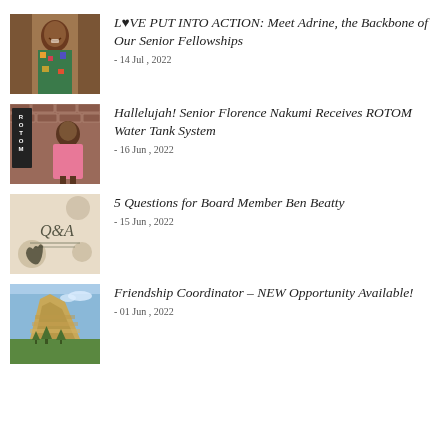[Figure (photo): Photo of smiling elderly African woman in colorful patterned clothing standing in a doorway]
L♥VE PUT INTO ACTION: Meet Adrine, the Backbone of Our Senior Fellowships
- 14 Jul , 2022
[Figure (photo): Photo of elderly woman in pink dress sitting in front of a wall with ROTOM sign]
Hallelujah! Senior Florence Nakumi Receives ROTOM Water Tank System
- 16 Jun , 2022
[Figure (photo): Q&A graphic with decorative elements on a beige background]
5 Questions for Board Member Ben Beatty
- 15 Jun , 2022
[Figure (photo): Photo of rocky landscape with mountains and green trees]
Friendship Coordinator – NEW Opportunity Available!
- 01 Jun , 2022